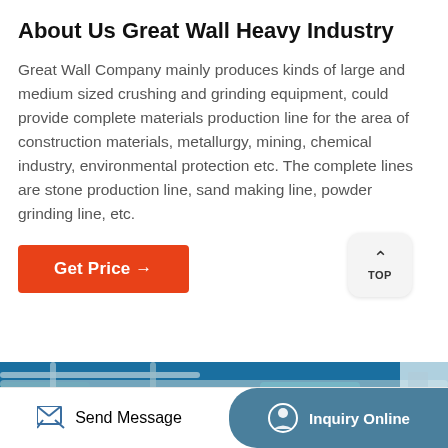About Us Great Wall Heavy Industry
Great Wall Company mainly produces kinds of large and medium sized crushing and grinding equipment, could provide complete materials production line for the area of construction materials, metallurgy, mining, chemical industry, environmental protection etc. The complete lines are stone production line, sand making line, powder grinding line, etc.
[Figure (other): Orange button with text 'Get Price →']
[Figure (photo): Industrial machinery photo showing blue and teal/cyan colored heavy equipment with pipes and structural elements in a factory setting]
Send Message
Inquiry Online